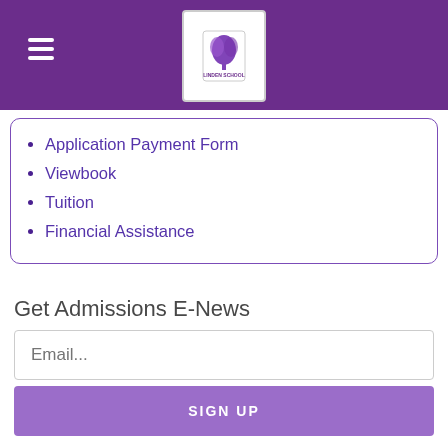Linden School – navigation header with hamburger menu and logo
Application Payment Form
Viewbook
Tuition
Financial Assistance
Get Admissions E-News
Email...
SIGN UP
Quick Links
INQUIRE